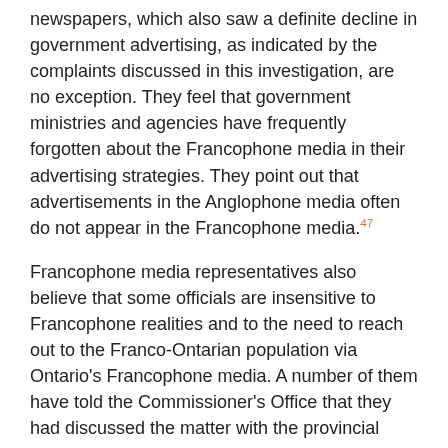newspapers, which also saw a definite decline in government advertising, as indicated by the complaints discussed in this investigation, are no exception. They feel that government ministries and agencies have frequently forgotten about the Francophone media in their advertising strategies. They point out that advertisements in the Anglophone media often do not appear in the Francophone media.47
Francophone media representatives also believe that some officials are insensitive to Francophone realities and to the need to reach out to the Franco-Ontarian population via Ontario's Francophone media. A number of them have told the Commissioner's Office that they had discussed the matter with the provincial government's mandated agencies in attempts to understand why they were not included as part of the media deployment of government advertising campaigns. They allege that they were told repeatedly that the Francophone media should conduct readership surveys; however, none of them has the funds required to pay for surveys of this kind.
8.2.2 Francophone community radio stations